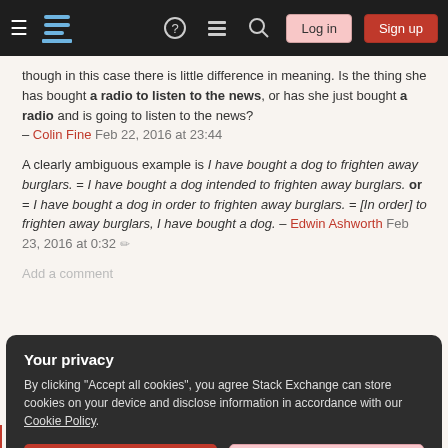Stack Exchange navigation bar with hamburger menu, logo, help, threads, search, Log in, Sign up
though in this case there is little difference in meaning. Is the thing she has bought a radio to listen to the news, or has she just bought a radio and is going to listen to the news? – Colin Fine Feb 22, 2016 at 23:44
A clearly ambiguous example is I have bought a dog to frighten away burglars. = I have bought a dog intended to frighten away burglars. or = I have bought a dog in order to frighten away burglars. = [In order] to frighten away burglars, I have bought a dog. – Edwin Ashworth Feb 23, 2016 at 0:32
Add a comment
[Figure (screenshot): Cookie consent overlay: Your privacy. By clicking Accept all cookies you agree Stack Exchange can store cookies on your device and disclose information in accordance with our Cookie Policy. Buttons: Accept all cookies, Customize settings.]
Jane bought a radio for her parents to listen to